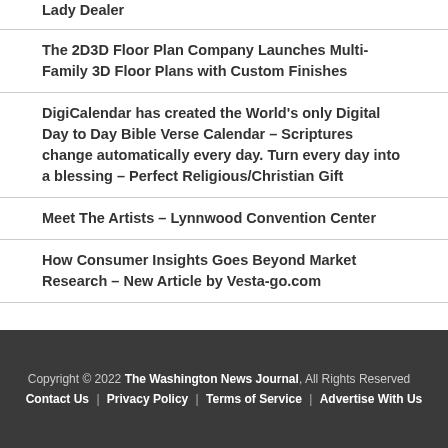The 2D3D Floor Plan Company Launches Multi-Family 3D Floor Plans with Custom Finishes
DigiCalendar has created the World's only Digital Day to Day Bible Verse Calendar – Scriptures change automatically every day. Turn every day into a blessing – Perfect Religious/Christian Gift
Meet The Artists – Lynnwood Convention Center
How Consumer Insights Goes Beyond Market Research – New Article by Vesta-go.com
Copyright © 2022 The Washington News Journal, All Rights Reserved   Contact Us | Privacy Policy | Terms of Service | Advertise With Us